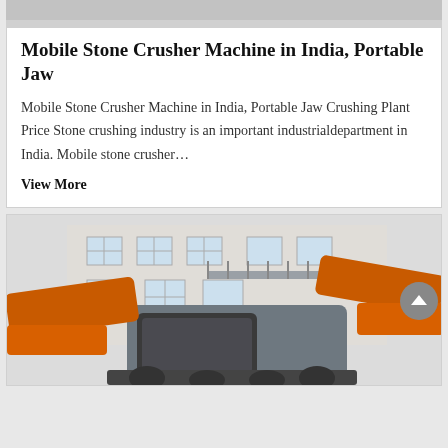[Figure (photo): Top portion of machinery/crusher photo visible at the very top of the page, partially cropped]
Mobile Stone Crusher Machine in India, Portable Jaw
Mobile Stone Crusher Machine in India, Portable Jaw Crushing Plant Price Stone crushing industry is an important industrialdepartment in India. Mobile stone crusher…
View More
[Figure (photo): Large industrial mobile stone crusher machine in orange and grey color parked in front of a factory building. Orange jaw crusher components visible on both sides with grey main frame in center.]